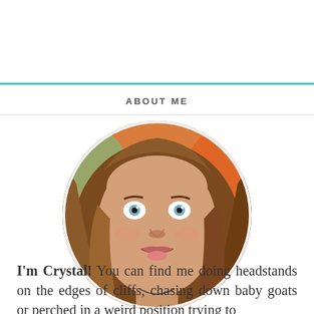ABOUT ME
[Figure (photo): Circular cropped photo of a woman with long brown wavy hair making a funny face with wide eyes and her tongue slightly sticking out. Background appears orange/colorful.]
I'm Crystal! You can find me doing headstands on the edges of cliffs, chasing down baby goats or perched in a weird position trying to